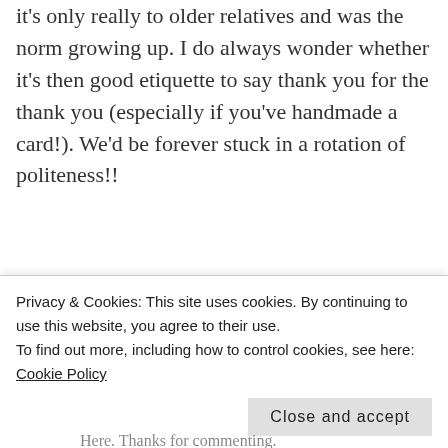it's only really to older relatives and was the norm growing up. I do always wonder whether it's then good etiquette to say thank you for the thank you (especially if you've handmade a card!). We'd be forever stuck in a rotation of politeness!!
★ Like
Reply →
TARA
Privacy & Cookies: This site uses cookies. By continuing to use this website, you agree to their use.
To find out more, including how to control cookies, see here: Cookie Policy
Close and accept
Here. Thanks for commenting.